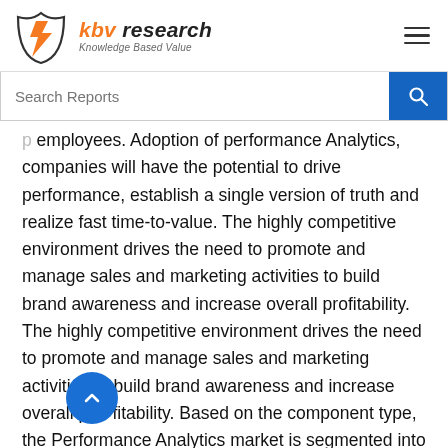[Figure (logo): KBV Research logo with orange lightning bolt emblem and text 'kbv research, Knowledge Based Value']
employees. Adoption of performance Analytics, companies will have the potential to drive performance, establish a single version of truth and realize fast time-to-value. The highly competitive environment drives the need to promote and manage sales and marketing activities to build brand awareness and increase overall profitability. The highly competitive environment drives the need to promote and manage sales and marketing activities to build brand awareness and increase overall profitability. Based on the component type, the Performance Analytics market is segmented into Software and Services.